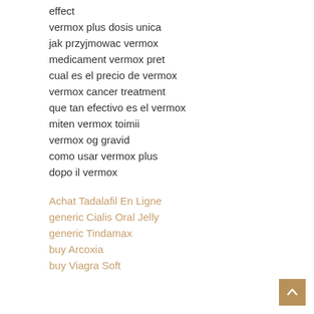effect
vermox plus dosis unica
jak przyjmowac vermox
medicament vermox pret
cual es el precio de vermox
vermox cancer treatment
que tan efectivo es el vermox
miten vermox toimii
vermox og gravid
como usar vermox plus
dopo il vermox
Achat Tadalafil En Ligne
generic Cialis Oral Jelly
generic Tindamax
buy Arcoxia
buy Viagra Soft